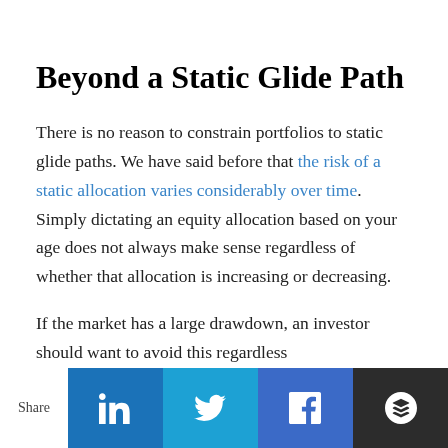Beyond a Static Glide Path
There is no reason to constrain portfolios to static glide paths. We have said before that the risk of a static allocation varies considerably over time. Simply dictating an equity allocation based on your age does not always make sense regardless of whether that allocation is increasing or decreasing.
If the market has a large drawdown, an investor should want to avoid this regardless
Share  [LinkedIn] [Twitter] [Facebook] [Buffer]